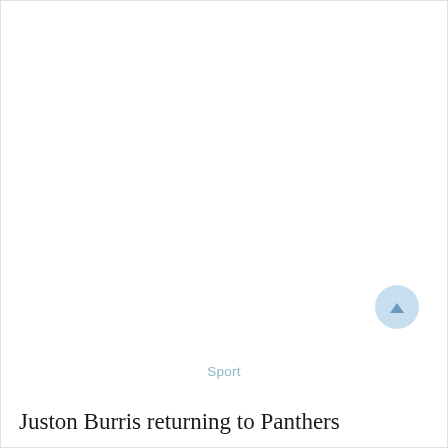[Figure (photo): Large image area (empty/white) occupying upper portion of the page]
Sport
Juston Burris returning to Panthers